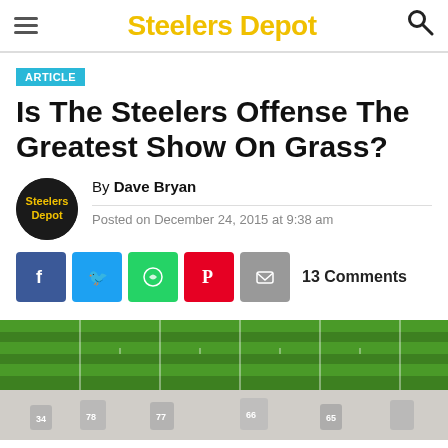Steelers Depot
ARTICLE
Is The Steelers Offense The Greatest Show On Grass?
By Dave Bryan
Posted on December 24, 2015 at 9:38 am
13 Comments
[Figure (photo): Football field aerial view (top) and players on field (bottom, faded/reflected)]